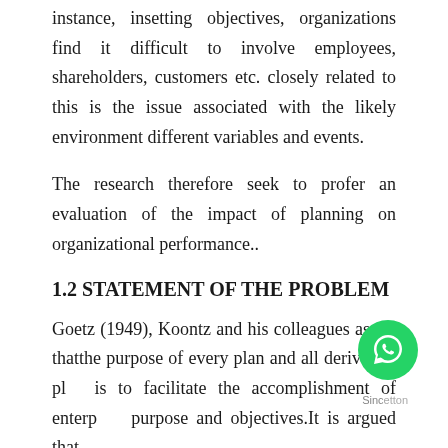instance, insetting objectives, organizations find it difficult to involve employees, shareholders, customers etc. closely related to this is the issue associated with the likely environment different variables and events.
The research therefore seek to profer an evaluation of the impact of planning on organizational performance..
1.2 STATEMENT OF THE PROBLEM
Goetz (1949), Koontz and his colleagues assert thatthe purpose of every plan and all derivative plan is to facilitate the accomplishment of enterprise purpose and objectives.It is argued that since